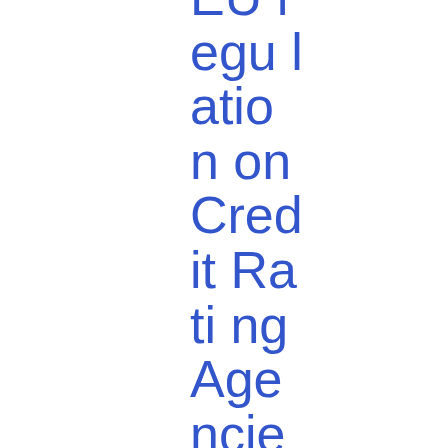EU regulation on Credit Rating Agencies: Common positions agreed by CESR Members